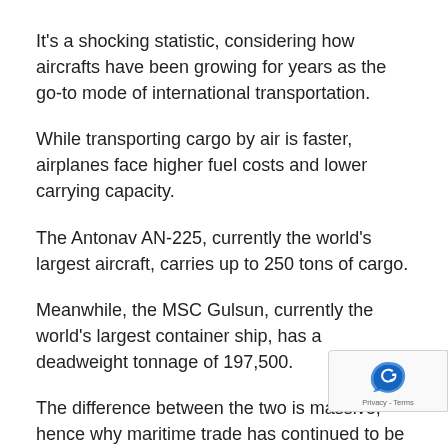It's a shocking statistic, considering how aircrafts have been growing for years as the go-to mode of international transportation.
While transporting cargo by air is faster, airplanes face higher fuel costs and lower carrying capacity.
The Antonav AN-225, currently the world's largest aircraft, carries up to 250 tons of cargo.
Meanwhile, the MSC Gulsun, currently the world's largest container ship, has a deadweight tonnage of 197,500.
The difference between the two is massive, hence why maritime trade has continued to be an integral part of the global economy.
In the Philippines, our geography alone speaks the importance of sea trade. Manila became the